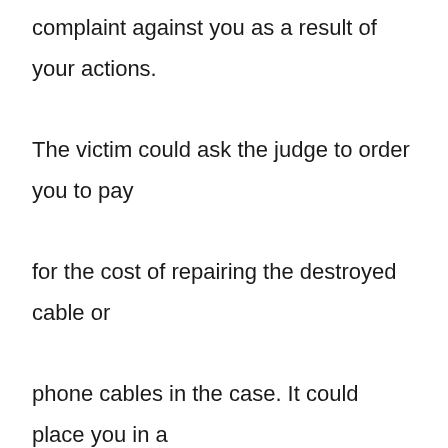complaint against you as a result of your actions. The victim could ask the judge to order you to pay for the cost of repairing the destroyed cable or phone cables in the case. It could place you in a much more difficult financial predicament. The great news is that you can contest these claims and get them dropped if your legal defense counsel mounts a strong case. If you have compelling defense claims, the court could dismiss the allegations or pass on a favorable sentence. The defense arguments that criminal defense lawyers